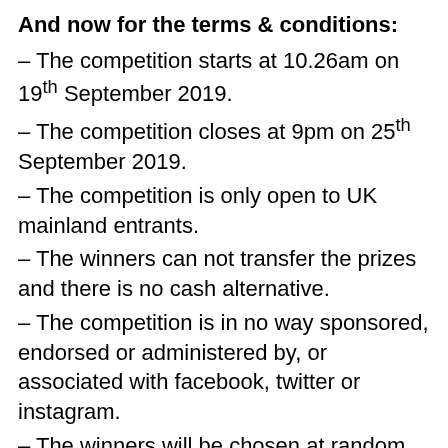And now for the terms & conditions:
– The competition starts at 10.26am on 19th September 2019.
– The competition closes at 9pm on 25th September 2019.
– The competition is only open to UK mainland entrants.
– The winners can not transfer the prizes and there is no cash alternative.
– The competition is in no way sponsored, endorsed or administered by, or associated with facebook, twitter or instagram.
– The winners will be chosen at random and the decision is final.
– The winners will be notified within the week after the competition ends.
– The prizes must be claimed within a month after the winners' announcement. After that time the